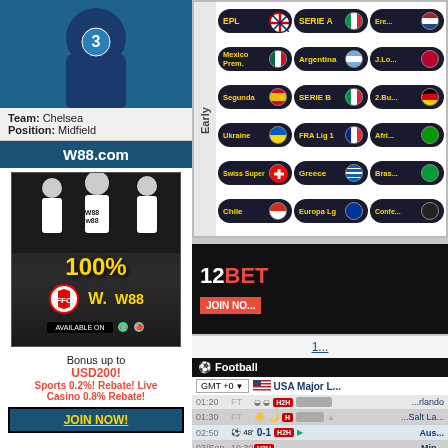[Figure (photo): Chelsea player in blue jersey, team photo/portrait crop]
Team: Chelsea
Position: Midfield
[Figure (advertisement): W88.com advertisement banner with Fulham players, 100% bonus, USD200 offer, sports rebate, casino rebate, JOIN NOW button]
[Figure (screenshot): Sports betting league selector grid showing EPL, Serie A, Mexico Prem, Argentina, Segunda, Serie B, Ukraine, FRA Lig 1, Swiss Super, Greece, Chile, Europa Lg and other leagues with flags, labeled Early on left side]
[Figure (advertisement): 12Bet banner advertisement with JOIN NOW button]
1
[Figure (screenshot): Football scores section showing USA Major League matches with times 01:20 FT, 01:30 FT, 02:50 48min 0-1, 03/Sep 19:30, with H2H buttons and team names including Orlando, Salt Lake, Austin, Minnesota]